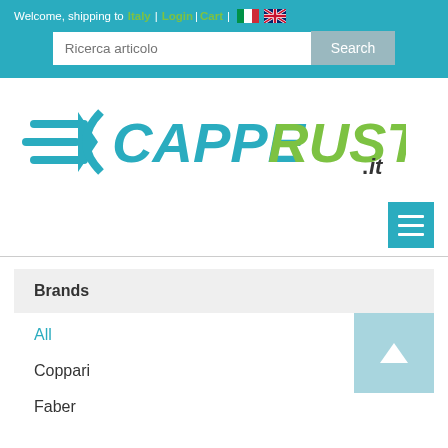Welcome, shipping to Italy | Login | Cart |
Ricerca articolo
[Figure (logo): CappeRustiche.it logo with stylized C arrow icon in blue and green text]
Brands
All
Coppari
Faber